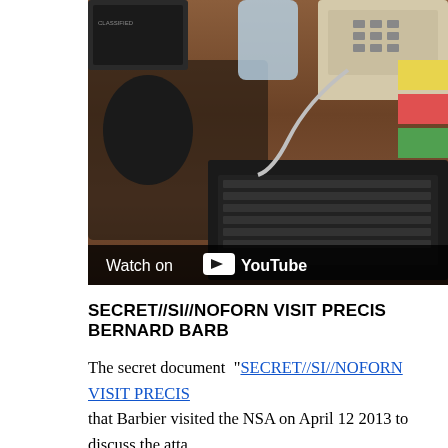[Figure (photo): Photo of office desk with electronic equipment including keyboard, telephone, remote controls and other devices on a wooden surface, with a YouTube 'Watch on YouTube' overlay bar at the bottom left.]
SECRET//SI//NOFORN VISIT PRECIS BERNARD BARB
The secret document “SECRET//SI//NOFORN VISIT PRECIS that Barbier visited the NSA on April 12 2013 to discuss the atta involvement in January and offered assistance in attributing the
This note offers a summary of the information published by the
An initial press report from Paris Atlantico, “French We Behind Elysée Cyber Attacks.” dated 12 July 2012 state attacks originated from France’s allies” and speculated possible links to Turkish “intelligence services or govern